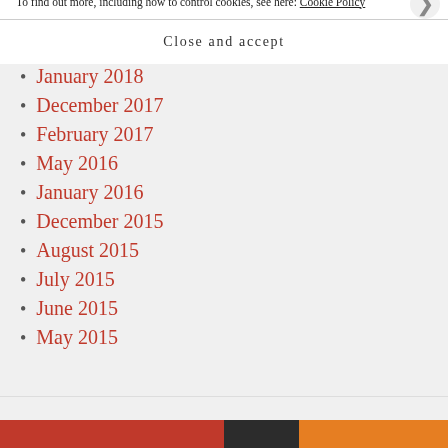March 2018
February 2018
January 2018
December 2017
February 2017
May 2016
January 2016
December 2015
August 2015
July 2015
June 2015
May 2015
Privacy & Cookies: This site uses cookies. By continuing to use this website, you agree to their use. To find out more, including how to control cookies, see here: Cookie Policy
Close and accept